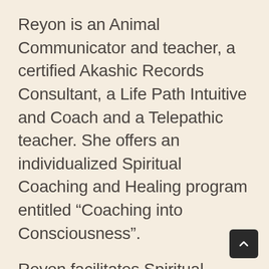Reyon is an Animal Communicator and teacher, a certified Akashic Records Consultant, a Life Path Intuitive and Coach and a Telepathic teacher. She offers an individualized Spiritual Coaching and Healing program entitled “Coaching into Consciousness”.
Reyon facilitates Spiritual Cetacean Journeys, which are retreats all over the world where people can interact and swim with wild and free dolphins and whales. 2020 locations include Hawaii, Bimini, Mexico and Moorea.